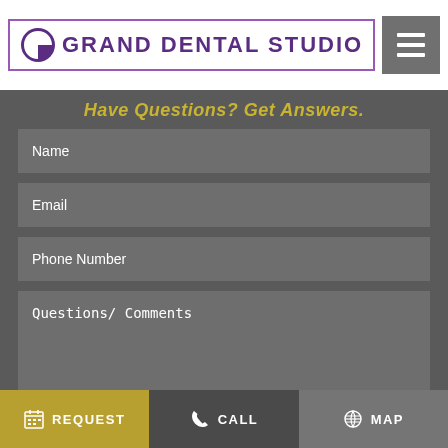[Figure (logo): Grand Dental Studio logo with purple circular icon and text in purple uppercase letters inside a bordered box]
Have Questions? Get Answers.
Name
Email
Phone Number
Questions/ Comments
SUBMIT YOUR QUESTIONS
REQUEST
CALL
MAP